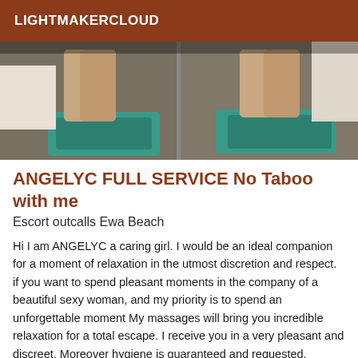LIGHTMAKERCLOUD
[Figure (photo): Two side-by-side photos showing a person's legs near a teal/turquoise shag rug and a massage table, indoors.]
ANGELYC FULL SERVICE No Taboo with me
Escort outcalls Ewa Beach
Hi I am ANGELYC a caring girl. I would be an ideal companion for a moment of relaxation in the utmost discretion and respect. if you want to spend pleasant moments in the company of a beautiful sexy woman, and my priority is to spend an unforgettable moment My massages will bring you incredible relaxation for a total escape. I receive you in a very pleasant and discreet. Moreover hygiene is guaranteed and requested.